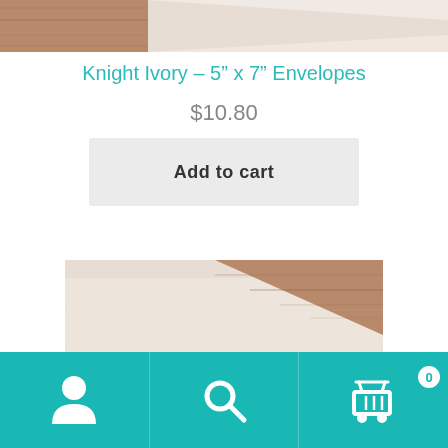[Figure (photo): Partial top view of an ivory envelope on a wooden surface, cropped at top]
Knight Ivory – 5” x 7” Envelopes
$10.80
Add to cart
[Figure (photo): Close-up of an ivory/cream envelope on a wooden surface, showing the top portion with wood grain visible in upper right corner]
[Figure (other): Navigation bar with user icon, search icon, and shopping cart icon with badge showing 0]